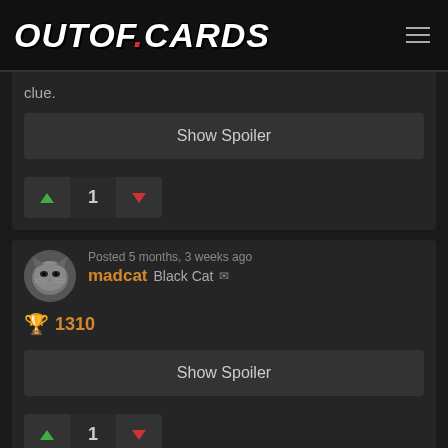OUTOF.CARDS
clue.
Show Spoiler
1
madcat Black Cat — Posted 5 months, 3 weeks ago
🏆 1310
Show Spoiler
1